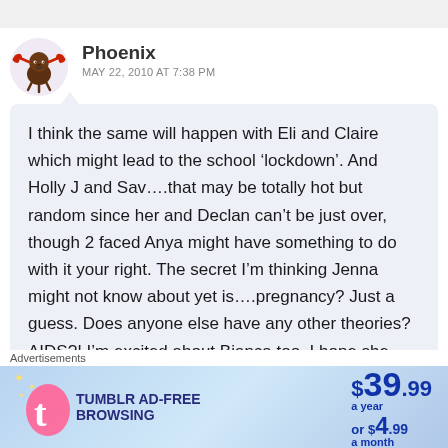[Figure (illustration): Cartoon avatar of a small brown creature with red crab-like claws on its head, on a light purple circular background]
Phoenix
MAY 22, 2010 AT 7:38 PM
I think the same will happen with Eli and Claire which might lead to the school ‘lockdown’. And Holly J and Sav….that may be totally hot but random since her and Declan can’t be just over, though 2 faced Anya might have something to do with it your right. The secret I’m thinking Jenna might not know about yet is….pregnancy? Just a guess. Does anyone else have any other theories? AIDS?! I’m excited about Bianca too, I hope she
Advertisements
[Figure (infographic): Tumblr AD-FREE BROWSING advertisement banner. Shows Tumblr logo (pink t), text 'TUMBLR AD-FREE BROWSING', price $39.99 a year or $4.99 a month, with star decorations on a blue gradient background.]